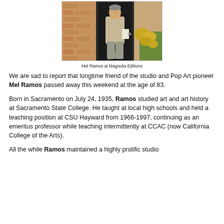[Figure (photo): Mel Ramos standing in a doorway of a brick building, holding papers, wearing a beige sweater and gray trousers, with yellow flowering plants visible to the right.]
Mel Ramos at Magnolia Editions
We are sad to report that longtime friend of the studio and Pop Art pioneer Mel Ramos passed away this weekend at the age of 83.
Born in Sacramento on July 24, 1935, Ramos studied art and art history at Sacramento State College. He taught at local high schools and held a teaching position at CSU Hayward from 1966-1997, continuing as an emeritus professor while teaching intermittently at CCAC (now California College of the Arts).
All the while Ramos maintained a highly prolific studio